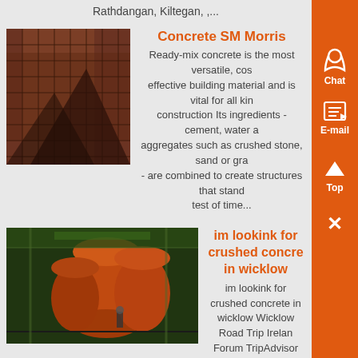Rathdangan, Kiltegan, ,...
Concrete SM Morris
[Figure (photo): Photo of concrete or industrial material with mesh/grid texture in reddish-brown tones]
Ready-mix concrete is the most versatile, cost effective building material and is vital for all kinds of construction Its ingredients - cement, water and aggregates such as crushed stone, sand or gravel - are combined to create structures that stand the test of time...
im lookink for crushed concrete in wicklow
[Figure (photo): Industrial interior with large orange tanks/vessels and green-lit warehouse setting]
im lookink for crushed concrete in wicklow Wicklow Road Trip Ireland Forum TripAdvisor Answer 1 of 4 In need of a bit of advice regarding a road trip around Wicklow Am entertaining When I visited I continued over the bridge and drove on some third class/gravel roads around Trooperstown Hill Looking at the map again, I d forgotten just how ....